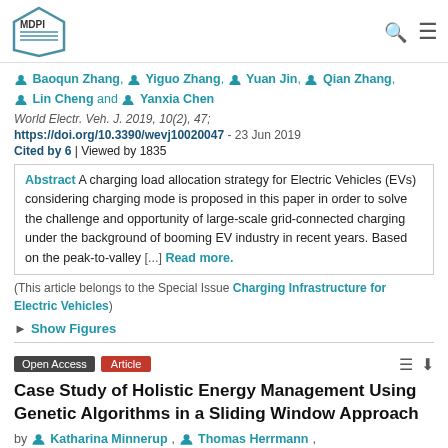[Figure (logo): MDPI logo with hexagon shape]
Baoqun Zhang, Yiguo Zhang, Yuan Jin, Qian Zhang, Lin Cheng and Yanxia Chen
World Electr. Veh. J. 2019, 10(2), 47;
https://doi.org/10.3390/wevj10020047 - 23 Jun 2019
Cited by 6 | Viewed by 1835
Abstract A charging load allocation strategy for Electric Vehicles (EVs) considering charging mode is proposed in this paper in order to solve the challenge and opportunity of large-scale grid-connected charging under the background of booming EV industry in recent years. Based on the peak-to-valley [...] Read more.
(This article belongs to the Special Issue Charging Infrastructure for Electric Vehicles)
► Show Figures
Open Access Article
Case Study of Holistic Energy Management Using Genetic Algorithms in a Sliding Window Approach
by Katharina Minnerup, Thomas Herrmann,